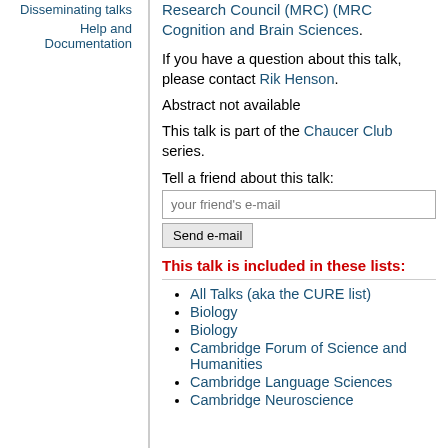Disseminating talks
Help and Documentation
Research Council (MRC) (MRC Cognition and Brain Sciences).
If you have a question about this talk, please contact Rik Henson.
Abstract not available
This talk is part of the Chaucer Club series.
Tell a friend about this talk:
This talk is included in these lists:
All Talks (aka the CURE list)
Biology
Biology
Cambridge Forum of Science and Humanities
Cambridge Language Sciences
Cambridge Neuroscience